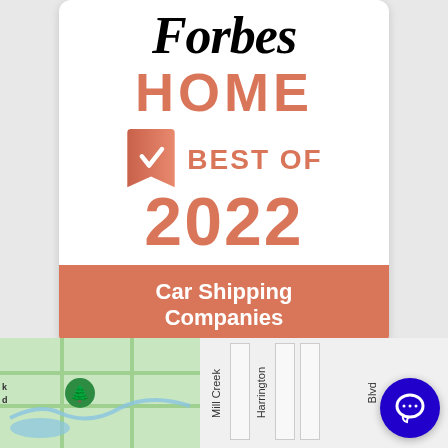[Figure (logo): Forbes Home Best of 2022 Car Shipping Companies badge/award logo. Features Forbes wordmark in black, 'HOME' in salmon/coral color, a ribbon/bookmark icon with checkmark, 'BEST OF' text, '2022' in large coral text, and a coral banner at bottom reading 'Car Shipping Companies' in white.]
[Figure (map): Partial Google Maps view showing a location pin with green tree icon, street labels including 'Mill Creek' and 'Harrington' roads, and surrounding area in light green. A blue circular chat/support button appears in the bottom right.]